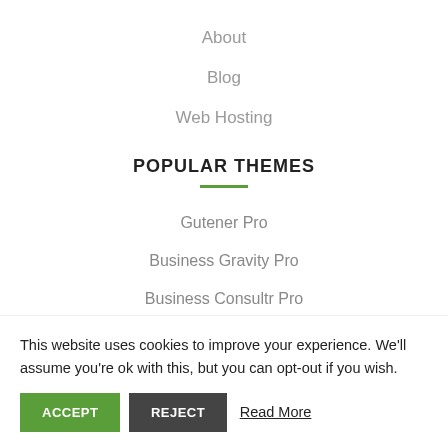About
Blog
Web Hosting
POPULAR THEMES
Gutener Pro
Business Gravity Pro
Business Consultr Pro
This website uses cookies to improve your experience. We'll assume you're ok with this, but you can opt-out if you wish.
ACCEPT   REJECT   Read More